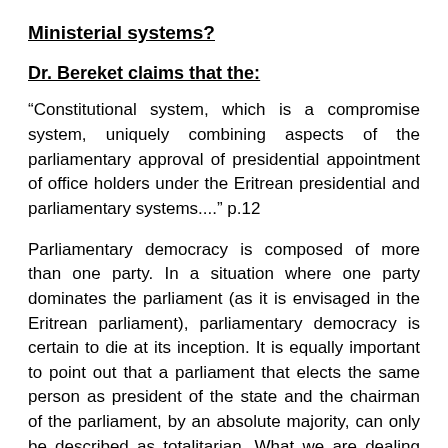Ministerial systems?
Dr. Bereket claims that the:
“Constitutional system, which is a compromise system, uniquely combining aspects of the parliamentary approval of presidential appointment of office holders under the Eritrean presidential and parliamentary systems....” p.12
Parliamentary democracy is composed of more than one party. In a situation where one party dominates the parliament (as it is envisaged in the Eritrean parliament), parliamentary democracy is certain to die at its inception. It is equally important to point out that a parliament that elects the same person as president of the state and the chairman of the parliament, by an absolute majority, can only be described as totalitarian. What we are dealing with, how is a non-compromising between the